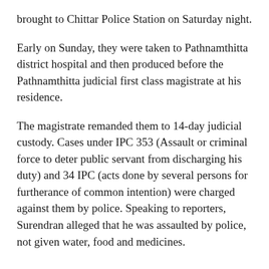brought to Chittar Police Station on Saturday night.
Early on Sunday, they were taken to Pathnamthitta district hospital and then produced before the Pathnamthitta judicial first class magistrate at his residence.
The magistrate remanded them to 14-day judicial custody. Cases under IPC 353 (Assault or criminal force to deter public servant from discharging his duty) and 34 IPC (acts done by several persons for furtherance of common intention) were charged against them by police. Speaking to reporters, Surendran alleged that he was assaulted by police, not given water, food and medicines.